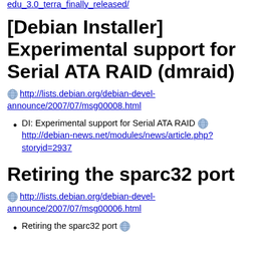http://www.der-winnie.de/posts/debian-edu_3.0_terra_finally_released/
[Debian Installer] Experimental support for Serial ATA RAID (dmraid)
http://lists.debian.org/debian-devel-announce/2007/07/msg00008.html
DI: Experimental support for Serial ATA RAID http://debian-news.net/modules/news/article.php?storyid=2937
Retiring the sparc32 port
http://lists.debian.org/debian-devel-announce/2007/07/msg00006.html
Retiring the sparc32 port (partial)